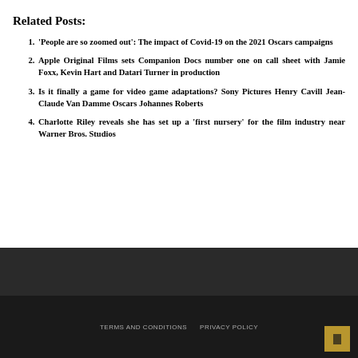Related Posts:
'People are so zoomed out': The impact of Covid-19 on the 2021 Oscars campaigns
Apple Original Films sets Companion Docs number one on call sheet with Jamie Foxx, Kevin Hart and Datari Turner in production
Is it finally a game for video game adaptations? Sony Pictures Henry Cavill Jean-Claude Van Damme Oscars Johannes Roberts
Charlotte Riley reveals she has set up a 'first nursery' for the film industry near Warner Bros. Studios
TERMS AND CONDITIONS   PRIVACY POLICY